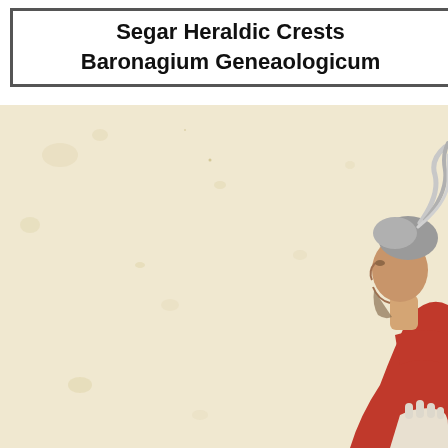Segar Heraldic Crests
Baronagium Geneaologicum
[Figure (illustration): Partial view of a heraldic manuscript illustration on aged parchment-colored background. On the right side, partially cropped, is a figure of a man in profile facing left, wearing a red garment and a grey plumed helmet/cap with a curl. The figure appears to be a heraldic crest or illuminated manuscript figure. The background is a warm cream/ivory parchment color with age spots and slight discoloration.]